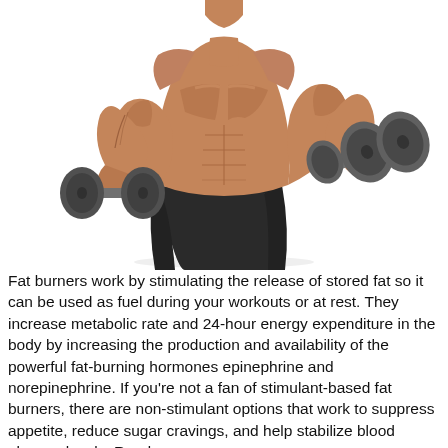[Figure (photo): A heavily muscled male bodybuilder with no shirt, holding two dumbbells (one in each hand curling position), showing extremely defined musculature against a white background. He wears dark shorts.]
Fat burners work by stimulating the release of stored fat so it can be used as fuel during your workouts or at rest. They increase metabolic rate and 24-hour energy expenditure in the body by increasing the production and availability of the powerful fat-burning hormones epinephrine and norepinephrine. If you're not a fan of stimulant-based fat burners, there are non-stimulant options that work to suppress appetite, reduce sugar cravings, and help stabilize blood glucose levels. Read on